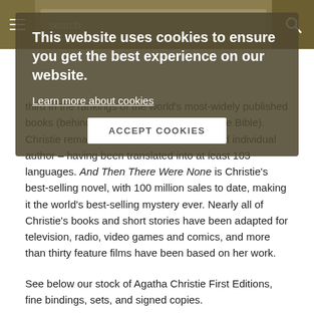[Figure (screenshot): Navigation bar with hamburger menu, search input, and search button on a tan/gold background]
[Figure (screenshot): Cookie consent overlay with dark semi-transparent background. Text: 'This website uses cookies to ensure you get the best experience on our website.' with a 'Learn more about cookies' link and 'ACCEPT COOKIES' button.]
having been translated into at least 103 languages. And Then There Were None is Christie's best-selling novel, with 100 million sales to date, making it the world's best-selling mystery ever. Nearly all of Christie's books and short stories have been adapted for television, radio, video games and comics, and more than thirty feature films have been based on her work.
See below our stock of Agatha Christie First Editions, fine bindings, sets, and signed copies.
Agatha Christie
[Figure (screenshot): Filter bar with Author dropdown select and two view toggle buttons (grid and list view)]